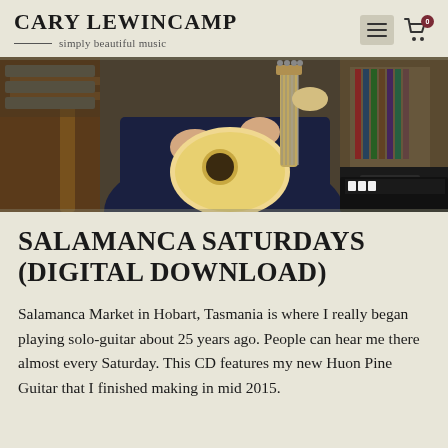CARY LEWINCAMP — simply beautiful music
[Figure (photo): A person playing a guitar in a music room with records and instruments in the background.]
SALAMANCA SATURDAYS (DIGITAL DOWNLOAD)
Salamanca Market in Hobart, Tasmania is where I really began playing solo-guitar about 25 years ago. People can hear me there almost every Saturday. This CD features my new Huon Pine Guitar that I finished making in mid 2015.